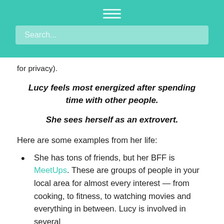Search...
for privacy).
Lucy feels most energized after spending time with other people.
She sees herself as an extrovert.
Here are some examples from her life:
She has tons of friends, but her BFF is MeetUps. These are groups of people in your local area for almost every interest — from cooking, to fitness, to watching movies and everything in between. Lucy is involved in several